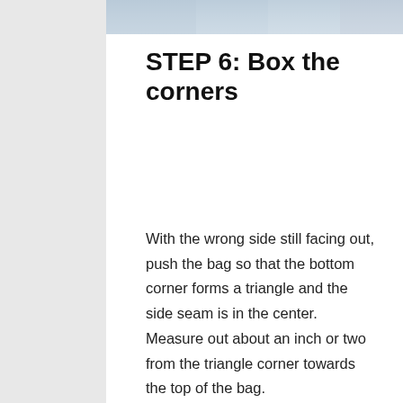[Figure (photo): Partial view of a craft/sewing photo at the top of the page, showing blurred fabric or material]
STEP 6: Box the corners
With the wrong side still facing out, push the bag so that the bottom corner forms a triangle and the side seam is in the center. Measure out about an inch or two from the triangle corner towards the top of the bag.
[Figure (photo): Partial view of craft materials at the bottom of the page — green fabric and a yellow clip/clamp visible]